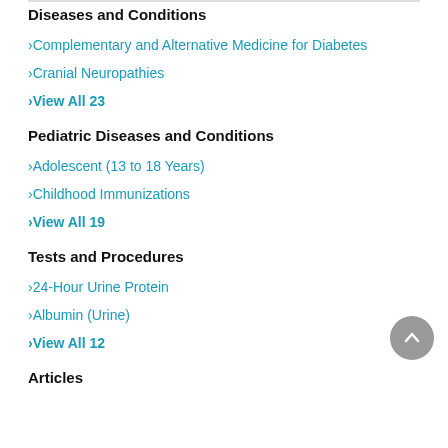Complementary and Alternative Medicine for Diabetes
Cranial Neuropathies
View All 23
Pediatric Diseases and Conditions
Adolescent (13 to 18 Years)
Childhood Immunizations
View All 19
Tests and Procedures
24-Hour Urine Protein
Albumin (Urine)
View All 12
Articles